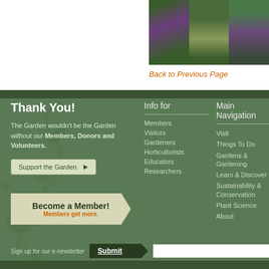[Figure (photo): Three garden photos showing purple flowering plants and ornamental grasses against green foliage]
Back to Previous Page
Thank You!
The Garden wouldn't be the Garden without our Members, Donors and Volunteers.
Support the Garden. ▶
Become a Member! Members get more.
Info for
Members
Visitors
Gardeners
Horticulturists
Educators
Researchers
Main Navigation
Visit
Things To Do
Gardens & Gardening
Learn & Discover
Sustainability & Conservation
Plant Science
About
Sign up for our e-newsletter
Submit